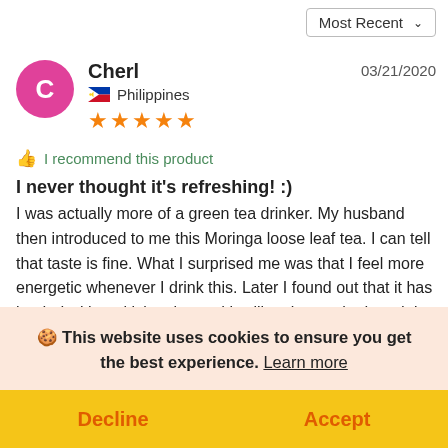Most Recent ∨
Cherl  Philippines  ★★★★★  03/21/2020
👍 I recommend this product
I never thought it's refreshing! :)
I was actually more of a green tea drinker. My husband then introduced to me this Moringa loose leaf tea. I can tell that taste is fine. What I surprised me was that I feel more energetic whenever I drink this. Later I found out that it has loaded with multivitamins and it will make you hydrated. I also noticed that
🍪 This website uses cookies to ensure you get the best experience. Learn more
Decline   Accept